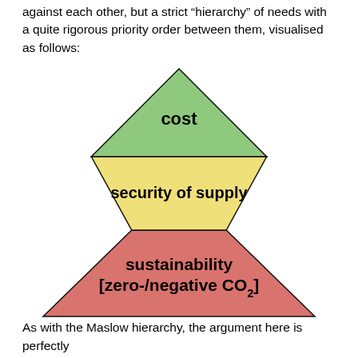against each other, but a strict “hierarchy” of needs with a quite rigorous priority order between them, visualised as follows:
[Figure (infographic): A pyramid diagram divided into three horizontal tiers. The top (smallest) tier is green and labeled 'cost'. The middle tier is yellow and labeled 'security of supply'. The bottom (largest) tier is red/pink and labeled 'sustainability [zero-/negative CO₂]'.]
As with the Maslow hierarchy, the argument here is perfectly